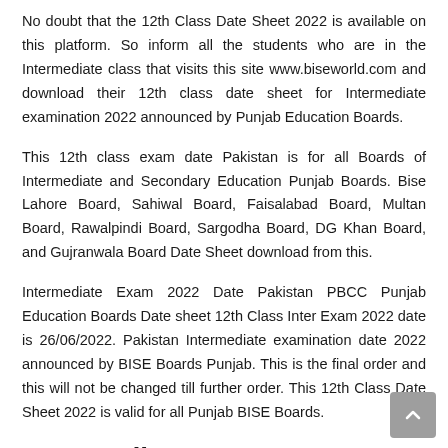No doubt that the 12th Class Date Sheet 2022 is available on this platform. So inform all the students who are in the Intermediate class that visits this site www.biseworld.com and download their 12th class date sheet for Intermediate examination 2022 announced by Punjab Education Boards.
This 12th class exam date Pakistan is for all Boards of Intermediate and Secondary Education Punjab Boards. Bise Lahore Board, Sahiwal Board, Faisalabad Board, Multan Board, Rawalpindi Board, Sargodha Board, DG Khan Board, and Gujranwala Board Date Sheet download from this.
Intermediate Exam 2022 Date Pakistan PBCC Punjab Education Boards Date sheet 12th Class Inter Exam 2022 date is 26/06/2022. Pakistan Intermediate examination date 2022 announced by BISE Boards Punjab. This is the final order and this will not be changed till further order. This 12th Class Date Sheet 2022 is valid for all Punjab BISE Boards.
Intermediate Exam 2022 Date Pakistan PBCC